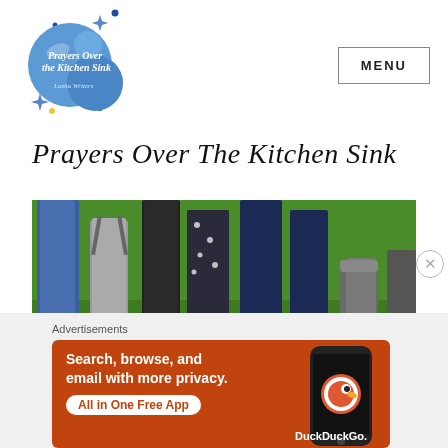[Figure (logo): Prayers Over the Kitchen Sink blog logo — blue bubble circles with sparkle stars and cursive text]
MENU
Prayers Over The Kitchen Sink
[Figure (photo): Photo of multiple people's legs and feet standing on green grass — adults and children visible]
Advertisements
[Figure (infographic): DuckDuckGo advertisement banner on orange/red background with text: Search, browse, and email with more privacy. All in One Free App. Shows a smartphone with DuckDuckGo logo.]